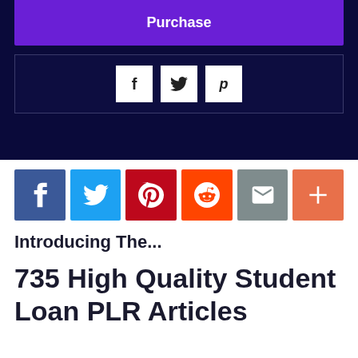[Figure (screenshot): Purple purchase button at top on dark navy background]
[Figure (screenshot): Dark navy box with three small social share icons (f, Twitter bird, Pinterest p) on white squares]
[Figure (infographic): Row of six colored social share icon buttons: Facebook (blue), Twitter (light blue), Pinterest (red), Reddit (orange), Email/envelope (gray), Plus/more (orange-red)]
Introducing The...
735 High Quality Student Loan PLR Articles